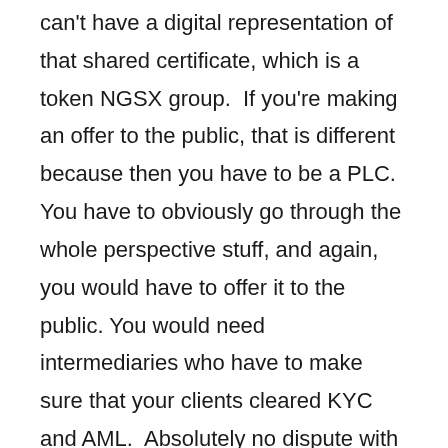can't have a digital representation of that shared certificate, which is a token NGSX group.  If you're making an offer to the public, that is different because then you have to be a PLC. You have to obviously go through the whole perspective stuff, and again, you would have to offer it to the public. You would need intermediaries who have to make sure that your clients cleared KYC and AML.  Absolutely no dispute with your comment that at all.
Samuel: I mean, it sounds, so a lot of this is reminiscent of the Spotify story, where you have a private company that takes on private investors, and then at some point, they do a direct listing into an exchange. There is no IPO. There are no investment banks that are brought